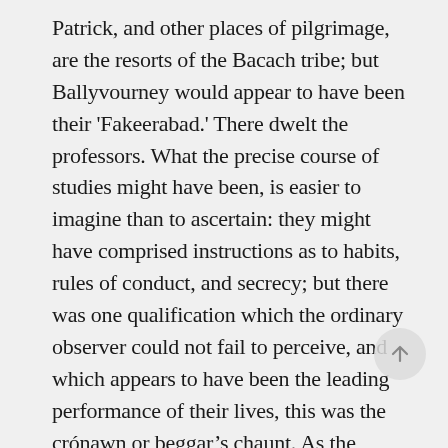Patrick, and other places of pilgrimage, are the resorts of the Bacach tribe; but Ballyvourney would appear to have been their 'Fakeerabad.' There dwelt the professors. What the precise course of studies might have been, is easier to imagine than to ascertain: they might have comprised instructions as to habits, rules of conduct, and secrecy; but there was one qualification which the ordinary observer could not fail to perceive, and which appears to have been the leading performance of their lives, this was the crónawn or beggar's chaunt. As the traveller passed through the village of Ballyvourney, he heard from the interior of many